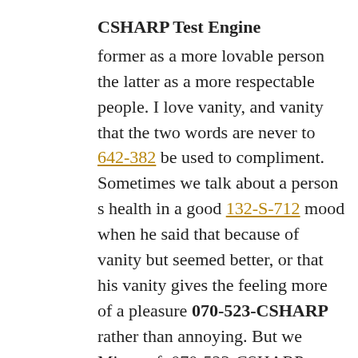CSHARP Test Engine
former as a more lovable person the latter as a more respectable people. I love vanity, and vanity that the two words are never to 642-382 be used to compliment. Sometimes we talk about a person s health in a good 132-S-712 mood when he said that because of vanity but seemed better, or that his vanity gives the feeling more of a pleasure 070-523-CSHARP rather than annoying. But we Microsoft 070-523-CSHARP Exam still call this vanity is his quality as.
070-523-CSHARP and